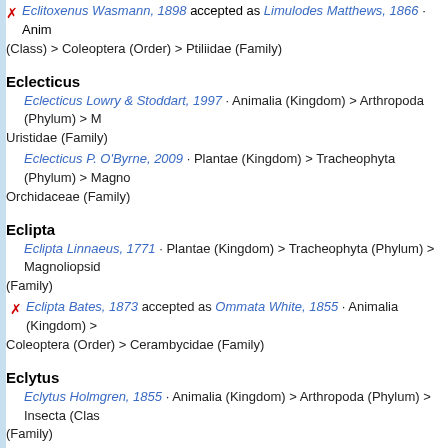✗ Eclitoxenus Wasmann, 1898 accepted as Limulodes Matthews, 1866 · Animalia (Kingdom) > ... (Class) > Coleoptera (Order) > Ptiliidae (Family)
Eclecticus
Eclecticus Lowry & Stoddart, 1997 · Animalia (Kingdom) > Arthropoda (Phylum) > ... Uristidae (Family)
Eclecticus P. O'Byrne, 2009 · Plantae (Kingdom) > Tracheophyta (Phylum) > Magno... Orchidaceae (Family)
Eclipta
Eclipta Linnaeus, 1771 · Plantae (Kingdom) > Tracheophyta (Phylum) > Magnoliopsid... (Family)
✗ Eclipta Bates, 1873 accepted as Ommata White, 1855 · Animalia (Kingdom) > ... Coleoptera (Order) > Cerambycidae (Family)
Eclytus
Eclytus Holmgren, 1855 · Animalia (Kingdom) > Arthropoda (Phylum) > Insecta (Clas... (Family)
Eclytus Chamberlin, 1952 (uncertain)· Animalia (Kingdom) > Arthropoda (Phylum) > ... Cambalidae (Family)
Ecnomodes
Ecnomodes Turner, 1903 · Animalia (Kingdom) > Arthropoda (Phylum) > Insecta (Cla... (Family)
Ecnomodes Ulmer, 1911 (uncertain)· Animalia (Kingdom) > Arthropoda (Phylum) > ... Trichoptera (awaiting allocation) (Family)